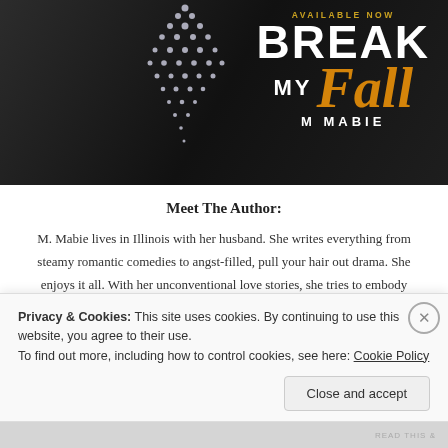[Figure (illustration): Book cover for 'Break My Fall' by M Mabie. Dark background with rhinestone/crystal decorative element, text reading 'AVAILABLE NOW', 'BREAK', 'MY Fall', 'M MABIE'. Break and My in white block letters, Fall in gold/orange italic script.]
Meet The Author:
M. Mabie lives in Illinois with her husband. She writes everything from steamy romantic comedies to angst-filled, pull your hair out drama. She enjoys it all. With her unconventional love stories, she tries to embody "real-life romance."
Privacy & Cookies: This site uses cookies. By continuing to use this website, you agree to their use.
To find out more, including how to control cookies, see here: Cookie Policy
Close and accept